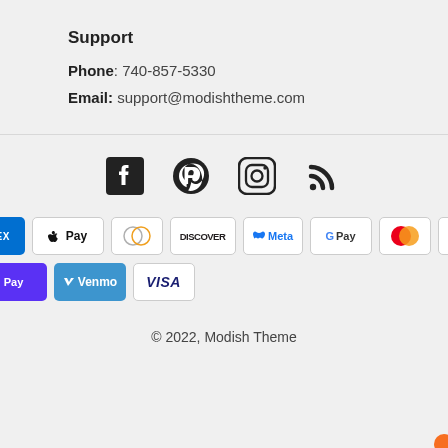Support
Phone: 740-857-5330
Email: support@modishtheme.com
[Figure (infographic): Social media icons: Facebook, Pinterest, Instagram, RSS feed]
[Figure (infographic): Payment method icons: American Express, Apple Pay, Diners Club, Discover, Meta Pay, Google Pay, Mastercard, PayPal, Shop Pay, Venmo, Visa]
© 2022, Modish Theme